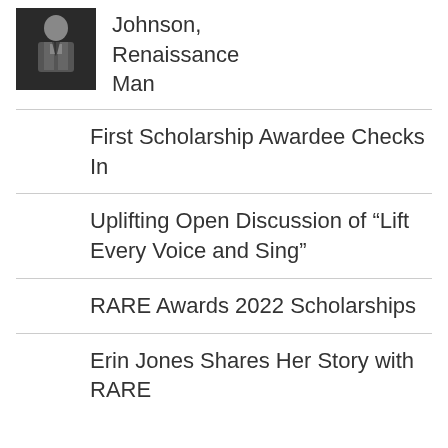[Figure (photo): Black and white portrait photo of a man in a suit]
Johnson, Renaissance Man
First Scholarship Awardee Checks In
Uplifting Open Discussion of “Lift Every Voice and Sing”
RARE Awards 2022 Scholarships
Erin Jones Shares Her Story with RARE